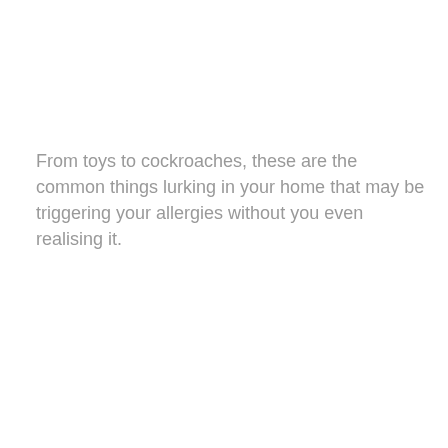From toys to cockroaches, these are the common things lurking in your home that may be triggering your allergies without you even realising it.